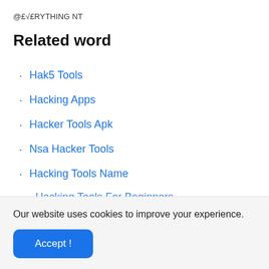@£√£RYTHING NT
Related word
Hak5 Tools
Hacking Apps
Hacker Tools Apk
Nsa Hacker Tools
Hacking Tools Name
Hacking Tools For Beginners
Our website uses cookies to improve your experience.